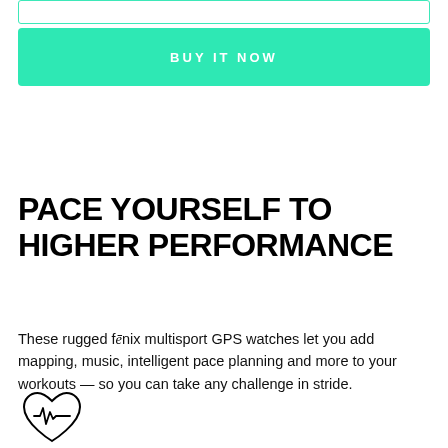[Figure (other): Input field with teal/green border at top of page]
BUY IT NOW
PACE YOURSELF TO HIGHER PERFORMANCE
These rugged fēnix multisport GPS watches let you add mapping, music, intelligent pace planning and more to your workouts — so you can take any challenge in stride.
[Figure (illustration): Heart rate monitor icon — heart shape with ECG/pulse line through it]